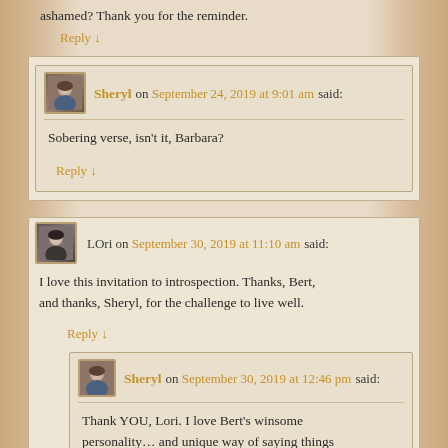ashamed? Thank you for the reminder.
Reply ↓
Sheryl on September 24, 2019 at 9:01 am said:
Sobering verse, isn't it, Barbara?
Reply ↓
LOri on September 30, 2019 at 11:10 am said:
I love this invitation to introspection. Thanks, Bert, and thanks, Sheryl, for the challenge to live well.
Reply ↓
Sheryl on September 30, 2019 at 12:46 pm said:
Thank YOU, Lori. I love Bert's winsome personality… and unique way of saying things